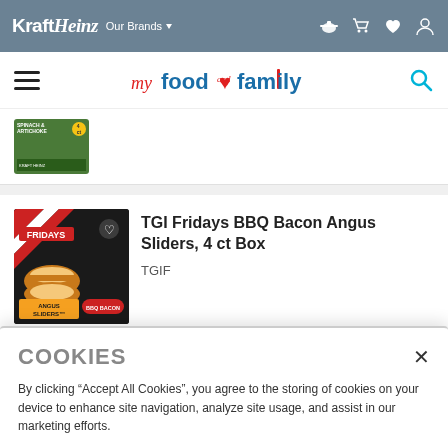Kraft Heinz  Our Brands
my food and family
[Figure (screenshot): Partial product listing for a Spinach & Artichoke frozen product, green box packaging]
[Figure (photo): TGI Fridays BBQ Bacon Angus Sliders 4 ct Box product box photo showing two burgers on black background]
TGI Fridays BBQ Bacon Angus Sliders, 4 ct Box
TGIF
COOKIES
By clicking “Accept All Cookies”, you agree to the storing of cookies on your device to enhance site navigation, analyze site usage, and assist in our marketing efforts.